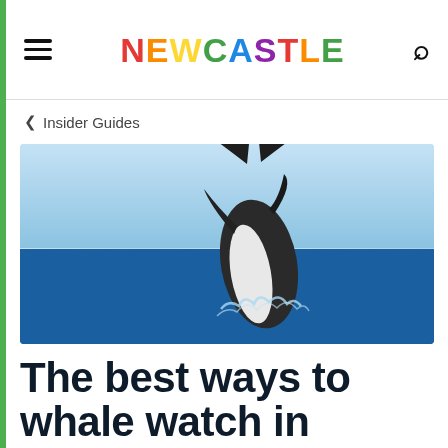NEWCASTLE — navigation header with hamburger menu and search icon
< Insider Guides
[Figure (photo): A humpback whale breaching out of the blue ocean water against a clear light blue sky, water splashing around its body as it leaps upward.]
The best ways to whale watch in Newcastle